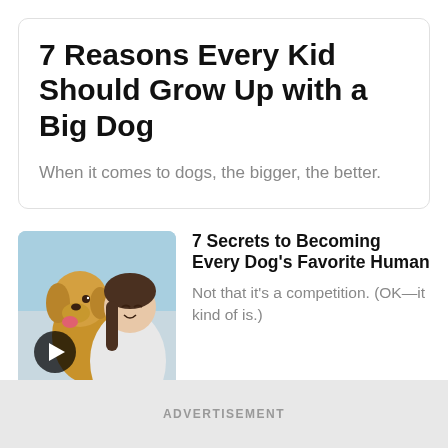7 Reasons Every Kid Should Grow Up with a Big Dog
When it comes to dogs, the bigger, the better.
[Figure (photo): A woman hugging a golden retriever dog with her eyes closed, beach/sky background. Play button overlay in the bottom-left corner.]
7 Secrets to Becoming Every Dog's Favorite Human
Not that it's a competition. (OK—it kind of is.)
ADVERTISEMENT